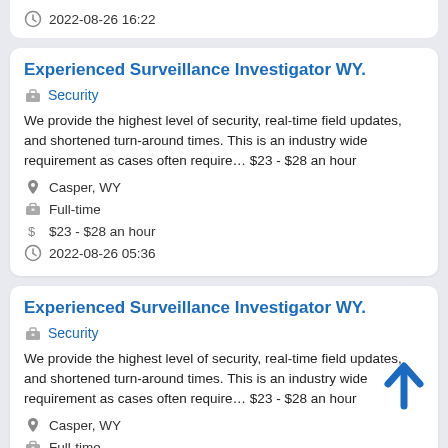2022-08-26 16:22
Experienced Surveillance Investigator WY.
Security
We provide the highest level of security, real-time field updates, and shortened turn-around times. This is an industry wide requirement as cases often require&#8230; $23 - $28 an hour
Casper, WY
Full-time
$23 - $28 an hour
2022-08-26 05:36
Experienced Surveillance Investigator WY.
Security
We provide the highest level of security, real-time field updates, and shortened turn-around times. This is an industry wide requirement as cases often require&#8230; $23 - $28 an hour
Casper, WY
Full-time